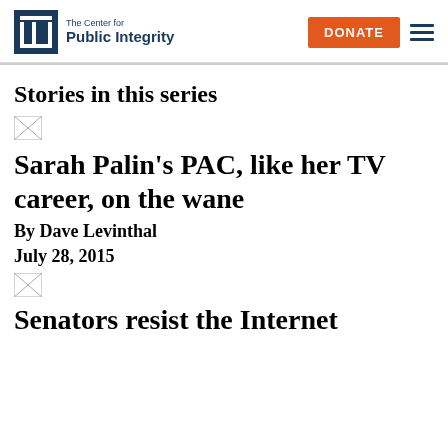The Center for Public Integrity | DONATE
Stories in this series
[Figure (photo): Broken image placeholder]
Sarah Palin's PAC, like her TV career, on the wane
By Dave Levinthal
July 28, 2015
[Figure (photo): Broken image placeholder]
Senators resist the Internet